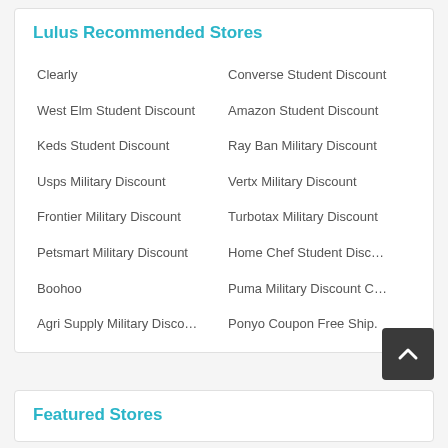Lulus Recommended Stores
Clearly
Converse Student Discount
West Elm Student Discount
Amazon Student Discount
Keds Student Discount
Ray Ban Military Discount
Usps Military Discount
Vertx Military Discount
Frontier Military Discount
Turbotax Military Discount
Petsmart Military Discount
Home Chef Student Disc…
Boohoo
Puma Military Discount C…
Agri Supply Military Disco…
Ponyo Coupon Free Ship.
Featured Stores